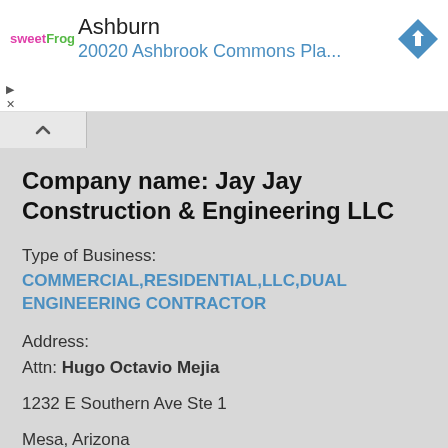[Figure (screenshot): Ad banner with sweetFrog logo, location title 'Ashburn', address '20020 Ashbrook Commons Pla...', and blue navigation arrow diamond icon]
Company name: Jay Jay Construction & Engineering LLC
Type of Business:
COMMERCIAL,RESIDENTIAL,LLC,DUAL ENGINEERING CONTRACTOR
Address:
Attn: Hugo Octavio Mejia
1232 E Southern Ave Ste 1
Mesa, Arizona